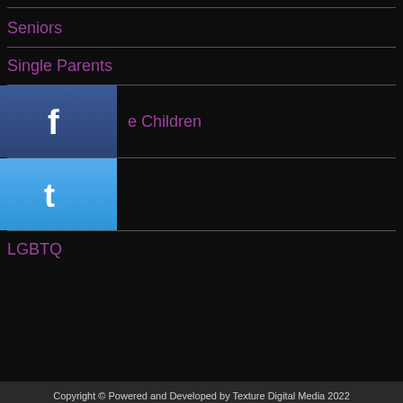Seniors
Single Parents
Children
LGBTQ
Copyright © Powered and Developed by Texture Digital Media 2022